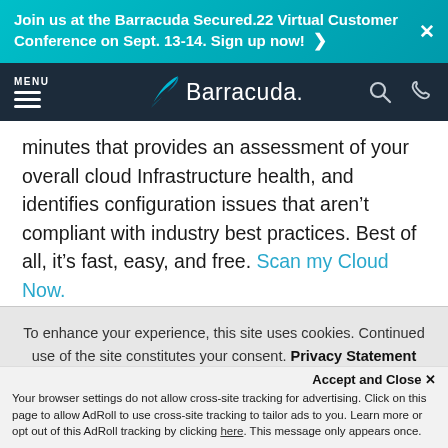Join us at the Barracuda Secured.22 Virtual Customer Conference on Sept. 13-14. Sign up now! ›
[Figure (logo): Barracuda Networks navigation bar with hamburger menu, Barracuda logo (shark fin icon with wordmark), search icon, and phone icon on dark navy background]
minutes that provides an assessment of your overall cloud Infrastructure health, and identifies configuration issues that aren't compliant with industry best practices. Best of all, it's fast, easy, and free. Scan my Cloud Now.
To learn more about Barracuda Cloud Security
To enhance your experience, this site uses cookies. Continued use of the site constitutes your consent. Privacy Statement
Accept and Close ✕
Your browser settings do not allow cross-site tracking for advertising. Click on this page to allow AdRoll to use cross-site tracking to tailor ads to you. Learn more or opt out of this AdRoll tracking by clicking here. This message only appears once.